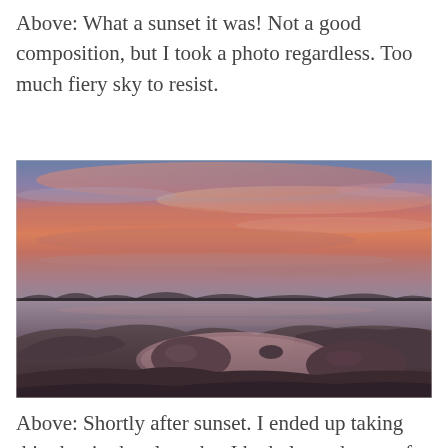Above: What a sunset it was! Not a good composition, but I took a photo regardless. Too much fiery sky to resist.
[Figure (photo): A landscape photograph taken shortly after sunset at a rocky shoreline. Dramatic fiery pink and orange clouds fill the sky above a calm lake or sea. Dark rocky formations and small boulders are visible in the foreground, with still water reflecting the warm tones of the sky. A distant treeline is barely visible on the horizon.]
Above: Shortly after sunset. I ended up taking this shot in the place that I had planned to use for my main northern lights photo, just so that I wouldn't end up